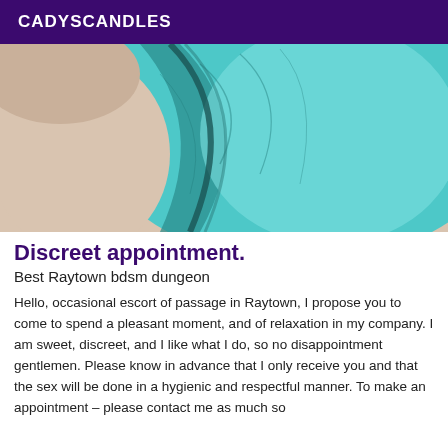CADYSCANDLES
[Figure (photo): Close-up photo of teal/turquoise fuzzy fabric or textile against a light skin-toned background.]
Discreet appointment.
Best Raytown bdsm dungeon
Hello, occasional escort of passage in Raytown, I propose you to come to spend a pleasant moment, and of relaxation in my company. I am sweet, discreet, and I like what I do, so no disappointment gentlemen. Please know in advance that I only receive you and that the sex will be done in a hygienic and respectful manner. To make an appointment – please contact me as much so